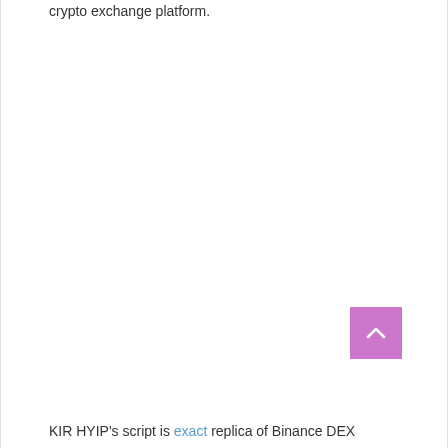crypto exchange platform.
[Figure (other): Purple/mauve square button with a white upward chevron arrow, used as a scroll-to-top button.]
KIR HYIP's script is exact replica of Binance DEX